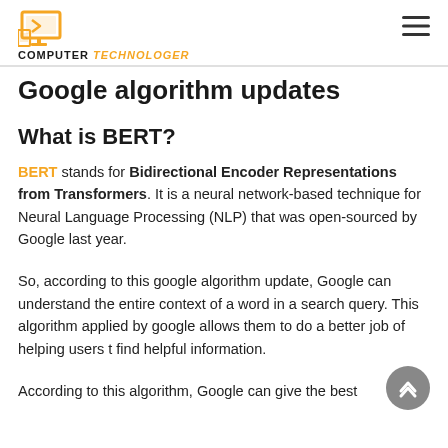COMPUTER TECHNOLOGER
Google algorithm updates
What is BERT?
BERT stands for Bidirectional Encoder Representations from Transformers. It is a neural network-based technique for Neural Language Processing (NLP) that was open-sourced by Google last year.
So, according to this google algorithm update, Google can understand the entire context of a word in a search query. This algorithm applied by google allows them to do a better job of helping users t find helpful information.
According to this algorithm, Google can give the best